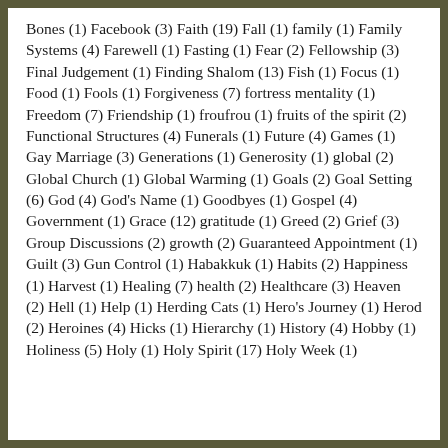Bones (1) Facebook (3) Faith (19) Fall (1) family (1) Family Systems (4) Farewell (1) Fasting (1) Fear (2) Fellowship (3) Final Judgement (1) Finding Shalom (13) Fish (1) Focus (1) Food (1) Fools (1) Forgiveness (7) fortress mentality (1) Freedom (7) Friendship (1) froufrou (1) fruits of the spirit (2) Functional Structures (4) Funerals (1) Future (4) Games (1) Gay Marriage (3) Generations (1) Generosity (1) global (2) Global Church (1) Global Warming (1) Goals (2) Goal Setting (6) God (4) God's Name (1) Goodbyes (1) Gospel (4) Government (1) Grace (12) gratitude (1) Greed (2) Grief (3) Group Discussions (2) growth (2) Guaranteed Appointment (1) Guilt (3) Gun Control (1) Habakkuk (1) Habits (2) Happiness (1) Harvest (1) Healing (7) health (2) Healthcare (3) Heaven (2) Hell (1) Help (1) Herding Cats (1) Hero's Journey (1) Herod (2) Heroines (4) Hicks (1) Hierarchy (1) History (4) Hobby (1) Holiness (5) Holy (1) Holy Spirit (17) Holy Week (1)